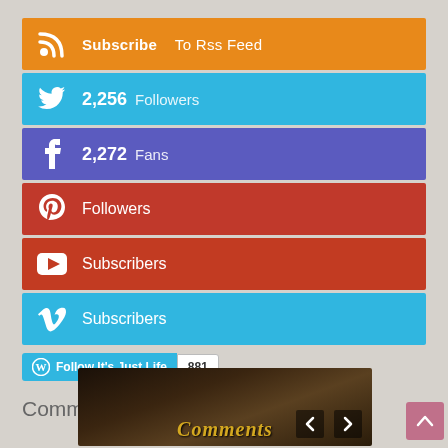[Figure (infographic): RSS feed subscription bar - orange background with RSS icon, Subscribe label and To Rss Feed text]
[Figure (infographic): Twitter bar - blue background with Twitter bird icon, 2,256 Followers]
[Figure (infographic): Facebook bar - purple/blue background with Facebook f icon, 2,272 Fans]
[Figure (infographic): Pinterest bar - red background with Pinterest p icon, Followers]
[Figure (infographic): YouTube bar - red background with YouTube play icon, Subscribers]
[Figure (infographic): Vimeo bar - blue background with Vimeo V icon, Subscribers]
[Figure (infographic): WordPress Follow button for It's Just Life with 881 followers count]
Comments For A Cause
[Figure (photo): Dark nature/wildlife photo with Comments text overlay in gold italic font, with navigation arrows]